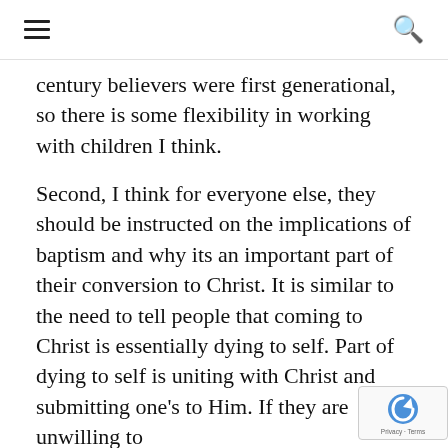☰  🔍
century believers were first generational, so there is some flexibility in working with children I think.
Second, I think for everyone else, they should be instructed on the implications of baptism and why its an important part of their conversion to Christ. It is similar to the need to tell people that coming to Christ is essentially dying to self. Part of dying to self is uniting with Christ and submitting one's to Him. If they are unwilling to